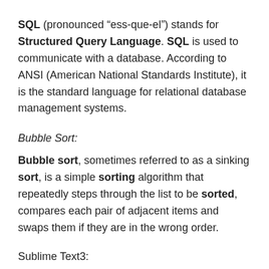SQL (pronounced “ess-que-el”) stands for Structured Query Language. SQL is used to communicate with a database. According to ANSI (American National Standards Institute), it is the standard language for relational database management systems.
Bubble Sort:
Bubble sort, sometimes referred to as a sinking sort, is a simple sorting algorithm that repeatedly steps through the list to be sorted, compares each pair of adjacent items and swaps them if they are in the wrong order.
Sublime Text3:
These are the in-progress versions of Sublime Text 3, and they are updated more frequently. Feel free to use them,